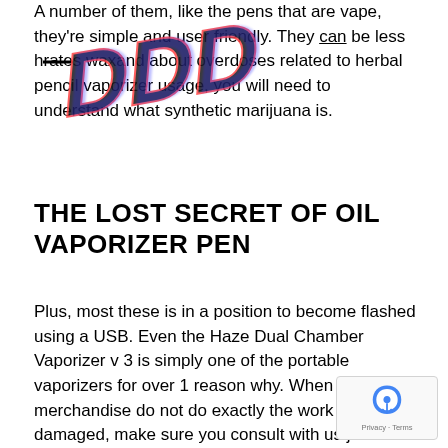A number of them, like the pens that are vape, they're simple and user friendly. They can be less hazardous. In order to understand the rates wax and about overdoses related to herbal pencil vaporizer usage, you will need to understand what synthetic marijuana is.
THE LOST SECRET OF OIL VAPORIZER PEN
Plus, most these is in a position to become flashed using a USB. Even the Haze Dual Chamber Vaporizer v 3 is simply one of the portable vaporizers for over 1 reason why. When a merchandise do not do exactly the work or is damaged, make sure you consult with us just soon as you can we can give a resolution.